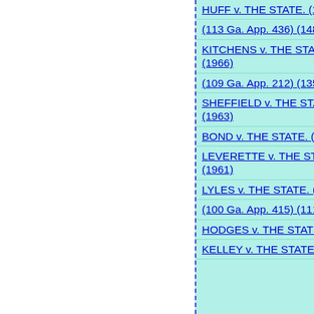HUFF v. THE STATE. (113 Ga. App. 257) (147 SE2d 840) (1966)
(113 Ga. App. 436) (148 SE2d 333) (1966)
KITCHENS v. THE STATE. (113 Ga. App. 663) (149 SE2d 373) (1966)
(109 Ga. App. 212) (135 SE2d 480) (1964)
SHEFFIELD v. THE STATE. (107 Ga. App. 610) (131 SE2d 76) (1963)
BOND v. THE STATE. (104 Ga. App. 627) (122 SE2d 310) (1961)
LEVERETTE v. THE STATE. (104 Ga. App. 743) (122 SE2d 745) (1961)
LYLES v. THE STATE. (109 SE2d 785) (215 Ga. 229) (1959)
(100 Ga. App. 415) (111 SE2d 633) (1959)
HODGES v. THE STATE. (108 SE2d 164) (99 Ga. App. 295) (1959)
KELLEY v. THE STATE. (105 ...